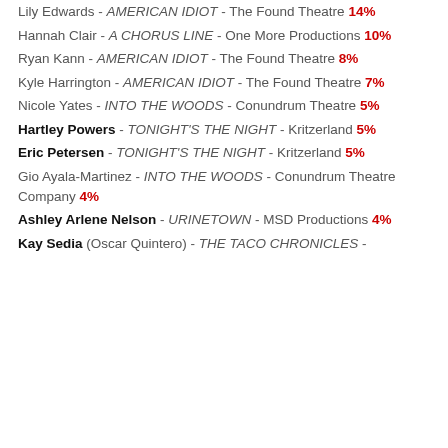Lily Edwards - AMERICAN IDIOT - The Found Theatre 14%
Hannah Clair - A CHORUS LINE - One More Productions 10%
Ryan Kann - AMERICAN IDIOT - The Found Theatre 8%
Kyle Harrington - AMERICAN IDIOT - The Found Theatre 7%
Nicole Yates - INTO THE WOODS - Conundrum Theatre 5%
Hartley Powers - TONIGHT'S THE NIGHT - Kritzerland 5%
Eric Petersen - TONIGHT'S THE NIGHT - Kritzerland 5%
Gio Ayala-Martinez - INTO THE WOODS - Conundrum Theatre Company 4%
Ashley Arlene Nelson - URINETOWN - MSD Productions 4%
Kay Sedia (Oscar Quintero) - THE TACO CHRONICLES -